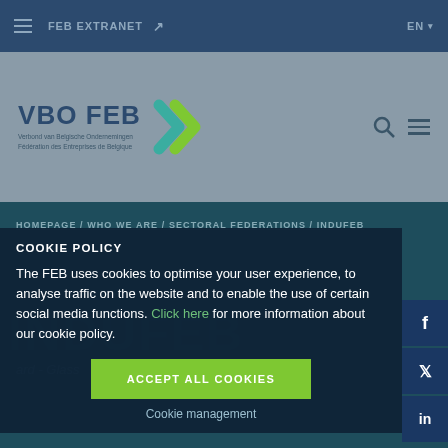FEB EXTRANET ↗   EN
[Figure (logo): VBO FEB logo with double green/teal chevron arrows and subtitle text]
HOMEPAGE / WHO WE ARE / SECTORAL FEDERATIONS / INDUFEB
COOKIE POLICY
The FEB uses cookies to optimise your user experience, to analyse traffic on the website and to enable the use of certain social media functions. Click here for more information about our cookie policy.
ACCEPT ALL COOKIES
Cookie management